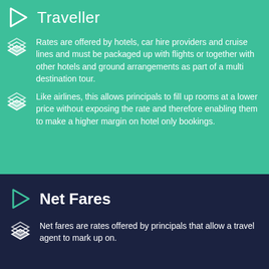Traveller
Rates are offered by hotels, car hire providers and cruise lines and must be packaged up with flights or together with other hotels and ground arrangements as part of a multi destination tour.
Like airlines, this allows principals to fill up rooms at a lower price without exposing the rate and therefore enabling them to make a higher margin on hotel only bookings.
Net Fares
Net fares are rates offered by principals that allow a travel agent to mark up on.